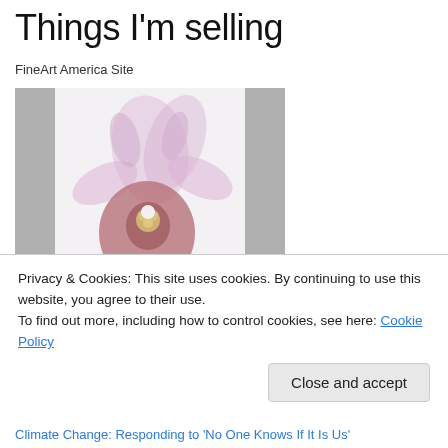Things I'm selling
FineArt America Site
[Figure (photo): A close-up photograph of an orchid flower with pink/purple petals and a dark center, displayed with gray side borders.]
Privacy & Cookies: This site uses cookies. By continuing to use this website, you agree to their use.
To find out more, including how to control cookies, see here: Cookie Policy
Close and accept
Climate Change: Responding to 'No One Knows If It Is Us'